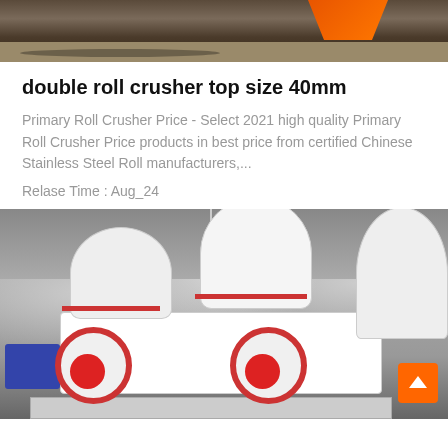[Figure (photo): Partial photograph of industrial machinery or equipment, top portion cropped, showing what appears to be a metal surface with an orange triangular element]
double roll crusher top size 40mm
Primary Roll Crusher Price - Select 2021 high quality Primary Roll Crusher Price products in best price from certified Chinese Stainless Steel Roll manufacturers,...
Relase Time : Aug_24
[Figure (photo): Photograph of a double roll crusher machine and associated cone crushers in an industrial factory setting. The machinery is white/grey colored with red accents on the flywheel. A blue motor is visible on the left side. An orange scroll-to-top button appears in the bottom right corner.]